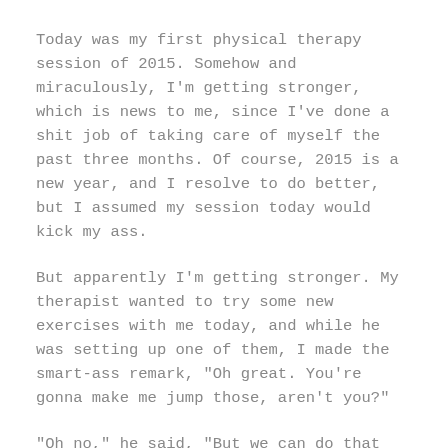Today was my first physical therapy session of 2015. Somehow and miraculously, I'm getting stronger, which is news to me, since I've done a shit job of taking care of myself the past three months. Of course, 2015 is a new year, and I resolve to do better, but I assumed my session today would kick my ass.
But apparently I'm getting stronger. My therapist wanted to try some new exercises with me today, and while he was setting up one of them, I made the smart-ass remark, "Oh great. You're gonna make me jump those, aren't you?"
"Oh no," he said, "But we can do that next!"
And despite my protests, he set up two jumping